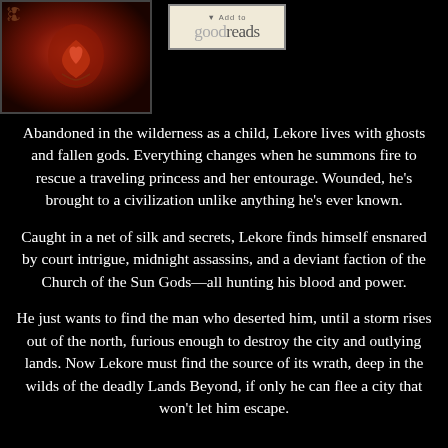[Figure (illustration): Book cover image with dark red and brown tones, featuring ornamental design with a heart/flame symbol, decorative borders]
[Figure (logo): Goodreads 'Add to goodreads' button with beige/cream background and border]
Abandoned in the wilderness as a child, Lekore lives with ghosts and fallen gods. Everything changes when he summons fire to rescue a traveling princess and her entourage. Wounded, he’s brought to a civilization unlike anything he’s ever known.
Caught in a net of silk and secrets, Lekore finds himself ensnared by court intrigue, midnight assassins, and a deviant faction of the Church of the Sun Gods—all hunting his blood and power.
He just wants to find the man who deserted him, until a storm rises out of the north, furious enough to destroy the city and outlying lands. Now Lekore must find the source of its wrath, deep in the wilds of the deadly Lands Beyond, if only he can flee a city that won’t let him escape.